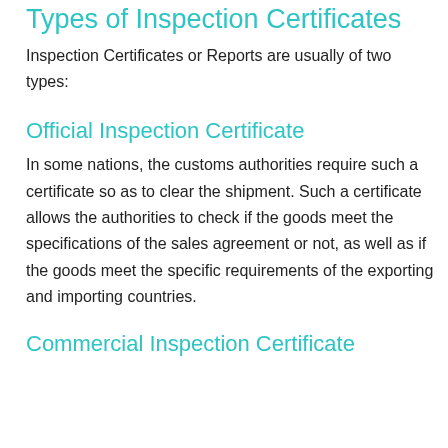Types of Inspection Certificates
Inspection Certificates or Reports are usually of two types:
Official Inspection Certificate
In some nations, the customs authorities require such a certificate so as to clear the shipment. Such a certificate allows the authorities to check if the goods meet the specifications of the sales agreement or not, as well as if the goods meet the specific requirements of the exporting and importing countries.
Commercial Inspection Certificate